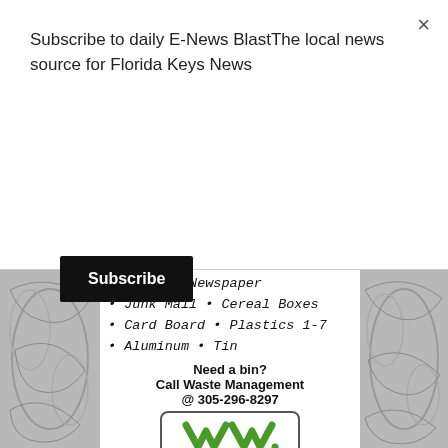Subscribe to daily E-News BlastThe local news source for Florida Keys News
Subscribe
[Figure (infographic): Waste Management recycling advertisement. Lists recyclable items: Glass • Newspaper, Junk Mail • Cereal Boxes, Card Board • Plastics 1-7, Aluminum • Tin. Call to action: Need a bin? Call Waste Management @ 305-296-8297. Waste Management logo with 'Think Green.' tagline.]